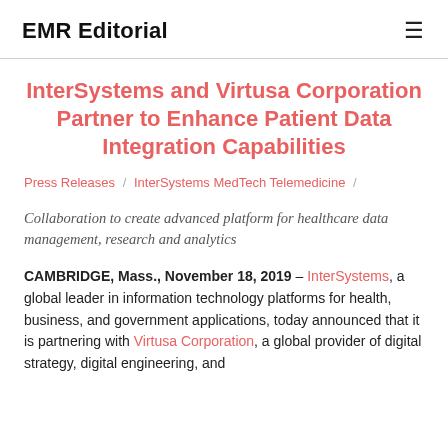EMR Editorial
InterSystems and Virtusa Corporation Partner to Enhance Patient Data Integration Capabilities
Press Releases / InterSystems MedTech Telemedicine /
Collaboration to create advanced platform for healthcare data management, research and analytics
CAMBRIDGE, Mass., November 18, 2019 – InterSystems, a global leader in information technology platforms for health, business, and government applications, today announced that it is partnering with Virtusa Corporation, a global provider of digital strategy, digital engineering, and